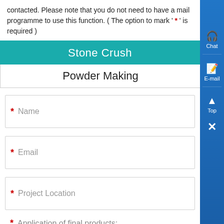contacted. Please note that you do not need to have a mail programme to use this function. ( The option to mark ' * ' is required )
Stone Crush
Powder Making
* Name
* Email
* Project Location
* Application of final products: